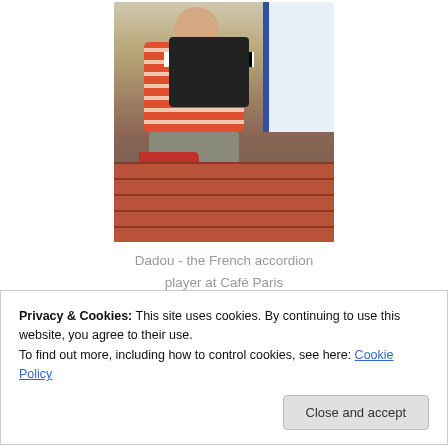[Figure (photo): A person playing a French accordion, wearing a red and white striped shirt and grey pants with red sneakers, leaning against a brick wall near a window with a blue frame.]
Dadou - the French accordion player at Café Paris
Privacy & Cookies: This site uses cookies. By continuing to use this website, you agree to their use.
To find out more, including how to control cookies, see here: Cookie Policy
has the most charming French country atmosphere. Sitting